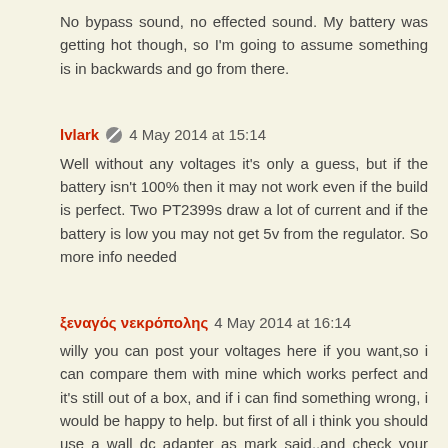No bypass sound, no effected sound. My battery was getting hot though, so I'm going to assume something is in backwards and go from there.
lvlark 4 May 2014 at 15:14
Well without any voltages it's only a guess, but if the battery isn't 100% then it may not work even if the build is perfect. Two PT2399s draw a lot of current and if the battery is low you may not get 5v from the regulator. So more info needed
ξεναγός νεκρόπολης 4 May 2014 at 16:14
willy you can post your voltages here if you want,so i can compare them with mine which works perfect and it's still out of a box, and if i can find something wrong, i would be happy to help. but first of all i think you should use a wall dc adapter as mark said..and check your voltage reg too...